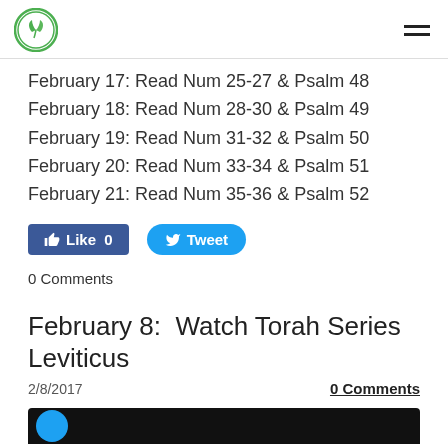[Logo] [Hamburger menu]
February 17: Read Num 25-27 & Psalm 48
February 18: Read Num 28-30 & Psalm 49
February 19: Read Num 31-32 & Psalm 50
February 20: Read Num 33-34 & Psalm 51
February 21: Read Num 35-36 & Psalm 52
[Figure (other): Facebook Like button with count 0 and Twitter Tweet button]
0 Comments
February 8:  Watch Torah Series Leviticus
2/8/2017
0 Comments
[Figure (other): Dark thumbnail image bar with a blue circle icon]